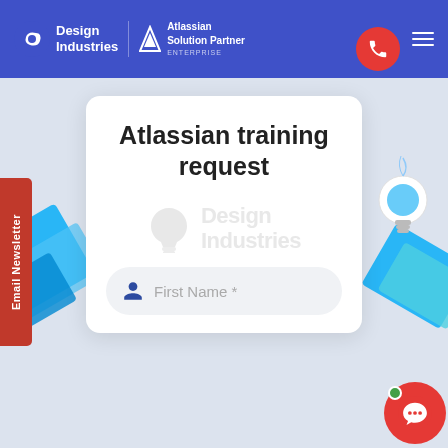[Figure (logo): Design Industries logo with Atlassian Solution Partner badge in blue header bar]
Email Newsletter
Atlassian training request
[Figure (illustration): Design Industries watermark logo (greyed out) in center of card]
First Name *